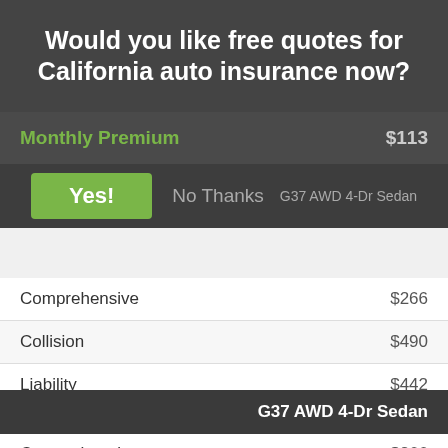Would you like free quotes for California auto insurance now?
Monthly Premium  $113
Yes!   No Thanks   G37 AWD 4-Dr Sedan
| Coverage | Amount |
| --- | --- |
| Comprehensive | $266 |
| Collision | $490 |
| Liability | $442 |
| Medical | $26 |
| UM/UIM | $132 |
| Annual Premium | $1,356 |
| Monthly Premium | $113 |
| G37 AWD 4-Dr Sedan |  |
| --- | --- |
| Comprehensive | $266 |
| Collision | $490 |